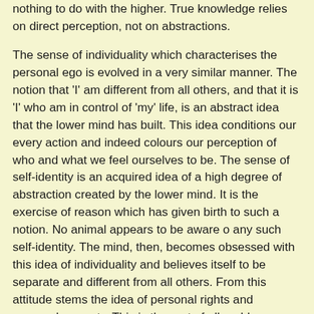nothing to do with the higher. True knowledge relies on direct perception, not on abstractions.
The sense of individuality which characterises the personal ego is evolved in a very similar manner. The notion that 'I' am different from all others, and that it is 'I' who am in control of 'my' life, is an abstract idea that the lower mind has built. This idea conditions our every action and indeed colours our perception of who and what we feel ourselves to be. The sense of self-identity is an acquired idea of a high degree of abstraction created by the lower mind. It is the exercise of reason which has given birth to such a notion. No animal appears to be aware o any such self-identity. The mind, then, becomes obsessed with this idea of individuality and believes itself to be separate and different from all others. From this attitude stems the idea of personal rights and personal property. This is the root of all problems such as self-centredness and self-interest.
We habitually use the term 'I' to refer to the personal ego, and this term implies that there is only one. But a moment's thought will show that we have many self-images. Each one fits a particular set of circumstances, and each has its own aims, preferences and moods. We behave differently in different situations and in different company. Each of us is